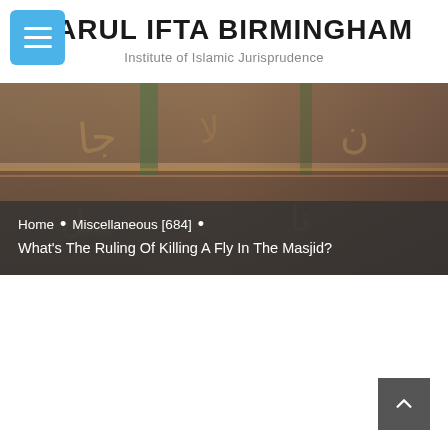[Figure (logo): Blue rounded square menu/hamburger button icon in top-left corner]
DARUL IFTA BIRMINGHAM
Institute of Islamic Jurisprudence
[Figure (photo): Close-up photo of Islamic calligraphy books/manuscripts with Arabic script, with a dark overlay at the bottom containing breadcrumb navigation and page title. Breadcrumb: Home • Miscellaneous [684] • What's The Ruling Of Killing A Fly In The Masjid?]
Home  •  Miscellaneous [684]  •  What's The Ruling Of Killing A Fly In The Masjid?